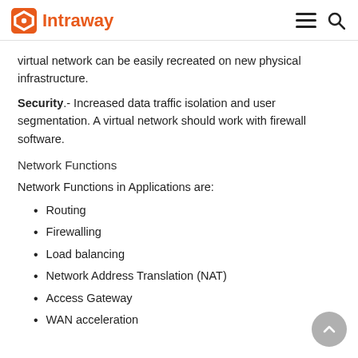Intraway
virtual network can be easily recreated on new physical infrastructure.
Security.- Increased data traffic isolation and user segmentation. A virtual network should work with firewall software.
Network Functions
Network Functions in Applications are:
Routing
Firewalling
Load balancing
Network Address Translation (NAT)
Access Gateway
WAN acceleration